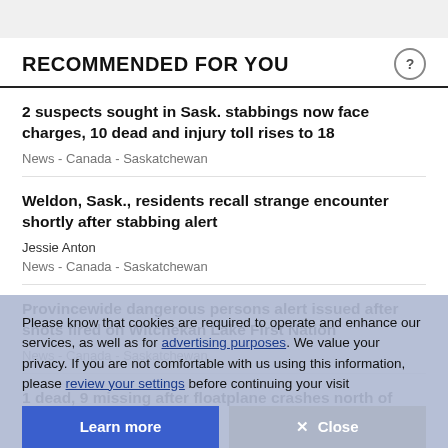RECOMMENDED FOR YOU
2 suspects sought in Sask. stabbings now face charges, 10 dead and injury toll rises to 18
News  -  Canada  -  Saskatchewan
Weldon, Sask., residents recall strange encounter shortly after stabbing alert
Jessie Anton
News  -  Canada  -  Saskatchewan
Provincewide dangerous persons alert issued after shots fired on Witchekan Lake First Nation
News  -  Canada  -  Saskatchewan
1 dead, 9 missing after floatplane crashes north of Seattle
News  -  Canada  -  British Columbia
Please know that cookies are required to operate and enhance our services, as well as for advertising purposes. We value your privacy. If you are not comfortable with us using this information, please review your settings before continuing your visit